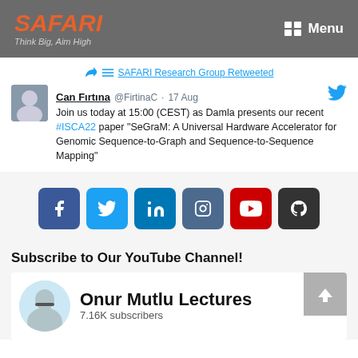SAFARI — Think Big, Aim High — Menu
SAFARI Research Group Retweeted
Can Fırtına @FirtinaC · 17 Aug
Join us today at 15:00 (CEST) as Damla presents our recent #ISCA22 paper "SeGraM: A Universal Hardware Accelerator for Genomic Sequence-to-Graph and Sequence-to-Sequence Mapping"
[Figure (infographic): Row of 6 social media icon buttons: Facebook (blue), Twitter (light blue), LinkedIn (dark blue), Instagram (slate blue), YouTube (red), GitHub (dark grey)]
Subscribe to Our YouTube Channel!
[Figure (infographic): YouTube channel card showing Onur Mutlu Lectures with 7.16K subscribers, circular profile photo of a man with glasses on light blue background, and a scroll-to-top button in grey]